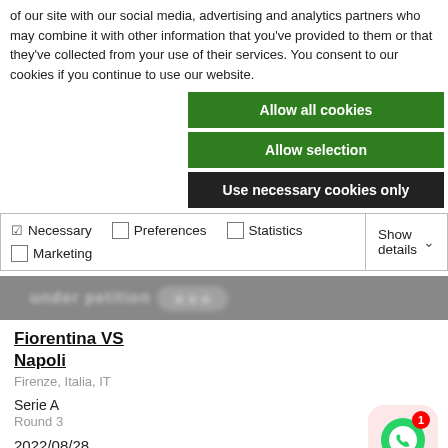of our site with our social media, advertising and analytics partners who may combine it with other information that you've provided to them or that they've collected from your use of their services. You consent to our cookies if you continue to use our website.
Allow all cookies
Allow selection
Use necessary cookies only
✓ Necessary  □ Preferences  □ Statistics  □ Marketing  Show details ▾
[Figure (screenshot): Blurred banner with text 'under petition' and a dark background with a dark button shape]
Fiorentina VS Napoli
Firenze, Italia, IT
Serie A
Round 3
2022/08/28
20:45:00
Stadio A...
[Figure (logo): WhatsApp icon in a pink/red rounded square with a red badge showing '1']